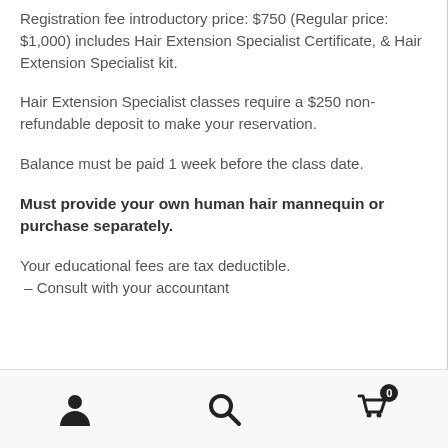Registration fee introductory price: $750 (Regular price: $1,000) includes Hair Extension Specialist Certificate, & Hair Extension Specialist kit.
Hair Extension Specialist classes require a $250 non-refundable deposit to make your reservation.
Balance must be paid 1 week before the class date.
Must provide your own human hair mannequin or purchase separately.
Your educational fees are tax deductible.
 – Consult with your accountant
[person icon] [search icon] [cart icon with badge 0]